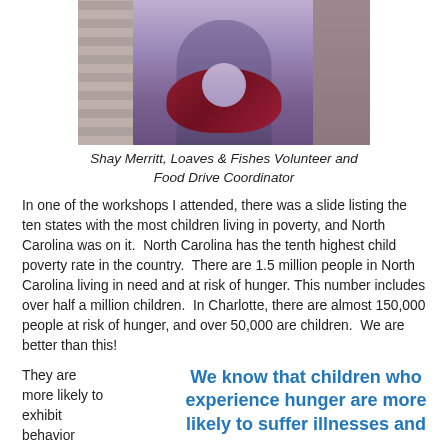[Figure (photo): Photo of Shay Merritt, a person wearing a purple top and red/maroon scarf, standing in what appears to be a warehouse or storage facility with pallets visible in the background.]
Shay Merritt, Loaves & Fishes Volunteer and Food Drive Coordinator
In one of the workshops I attended, there was a slide listing the ten states with the most children living in poverty, and North Carolina was on it.  North Carolina has the tenth highest child poverty rate in the country.  There are 1.5 million people in North Carolina living in need and at risk of hunger. This number includes over half a million children.  In Charlotte, there are almost 150,000 people at risk of hunger, and over 50,000 are children.  We are better than this!
They are more likely to exhibit behavior problems and miss more
We know that children who experience hunger are more likely to suffer illnesses and